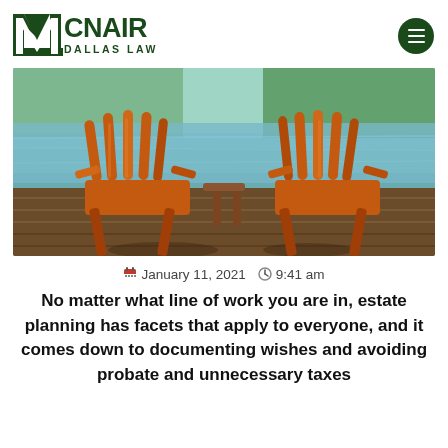[Figure (logo): McNair Dallas Law firm logo with green block letter M and MCNAIR DALLAS LAW text]
[Figure (photo): Two orange-brown Adirondack chairs on a wooden dock by a calm lake with green trees in background]
January 11, 2021   9:41 am
No matter what line of work you are in, estate planning has facets that apply to everyone, and it comes down to documenting wishes and avoiding probate and unnecessary taxes